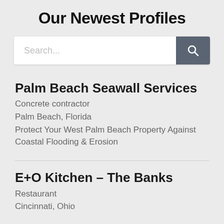Our Newest Profiles
[Figure (screenshot): Search bar with placeholder text 'Search...' and a dark grey search button with magnifying glass icon]
Palm Beach Seawall Services
Concrete contractor
Palm Beach, Florida
Protect Your West Palm Beach Property Against Coastal Flooding & Erosion
E+O Kitchen – The Banks
Restaurant
Cincinnati, Ohio